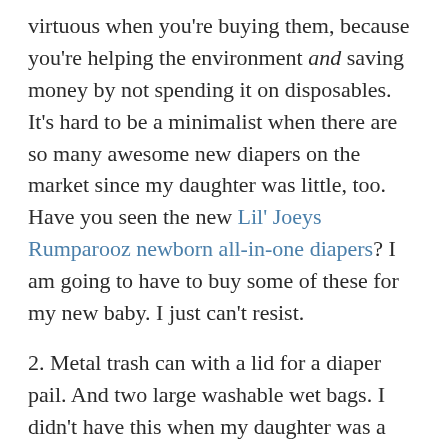virtuous when you're buying them, because you're helping the environment and saving money by not spending it on disposables. It's hard to be a minimalist when there are so many awesome new diapers on the market since my daughter was little, too. Have you seen the new Lil' Joeys Rumparooz newborn all-in-one diapers? I am going to have to buy some of these for my new baby. I just can't resist.
2. Metal trash can with a lid for a diaper pail. And two large washable wet bags. I didn't have this when my daughter was a newborn; I used a laundry basket. As it turns out, newborn breastfed pee doesn't